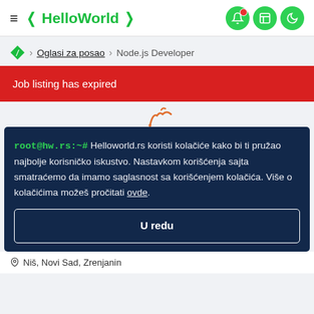HelloWorld
Oglasi za posao > Node.js Developer
Job listing has expired
root@hw.rs:~# Helloworld.rs koristi kolačiće kako bi ti pružao najbolje korisničko iskustvo. Nastavkom korišćenja sajta smatraćemo da imamo saglasnost sa korišćenjem kolačića. Više o kolačićima možeš pročitati ovde.
U redu
Niš, Novi Sad, Zrenjanin